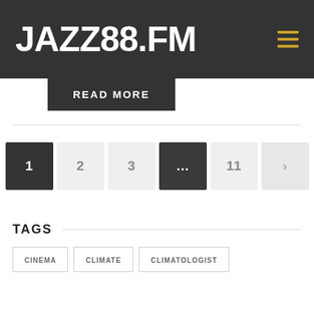JAZZ88.FM
READ MORE
1  2  3  ...  11  >
TAGS
CINEMA
CLIMATE
CLIMATOLOGIST